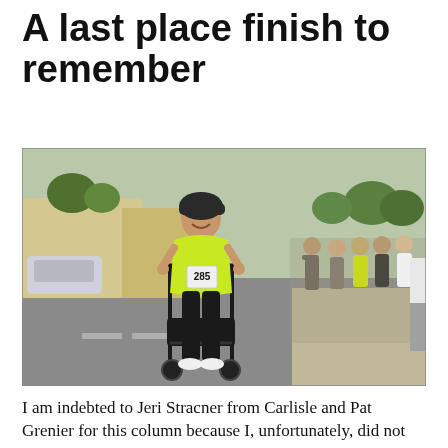A last place finish to remember
[Figure (photo): A woman wearing a bright neon yellow top and race bib number 285 walks using a rollator walker across what appears to be a finish line on a street. A crowd of runners and spectators line the right side cheering for her. The scene takes place on a road with parked cars in the background on a sunny day.]
I am indebted to Jeri Stracner from Carlisle and Pat Grenier for this column because I, unfortunately, did not witness the best part of the 5K Born to Run